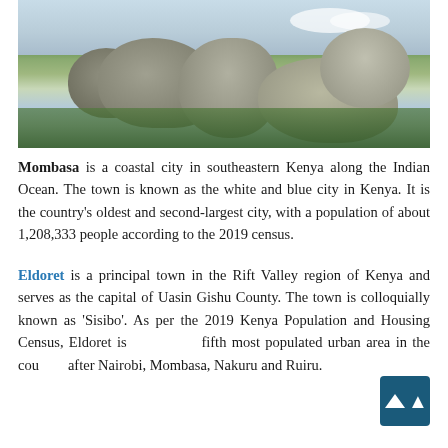[Figure (photo): Landscape photo showing large boulders/rocks with lush green vegetation and a partly cloudy sky in the background.]
Mombasa is a coastal city in southeastern Kenya along the Indian Ocean. The town is known as the white and blue city in Kenya. It is the country's oldest and second-largest city, with a population of about 1,208,333 people according to the 2019 census.
Eldoret is a principal town in the Rift Valley region of Kenya and serves as the capital of Uasin Gishu County. The town is colloquially known as 'Sisibo'. As per the 2019 Kenya Population and Housing Census, Eldoret is the fifth most populated urban area in the country after Nairobi, Mombasa, Nakuru and Ruiru.